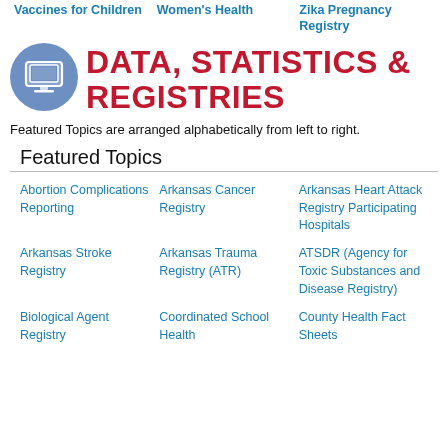Vaccines for Children
Women's Health
Zika Pregnancy Registry
DATA, STATISTICS & REGISTRIES
Featured Topics are arranged alphabetically from left to right.
Featured Topics
Abortion Complications Reporting
Arkansas Cancer Registry
Arkansas Heart Attack Registry Participating Hospitals
Arkansas Stroke Registry
Arkansas Trauma Registry (ATR)
ATSDR (Agency for Toxic Substances and Disease Registry)
Biological Agent Registry
Coordinated School Health
County Health Fact Sheets